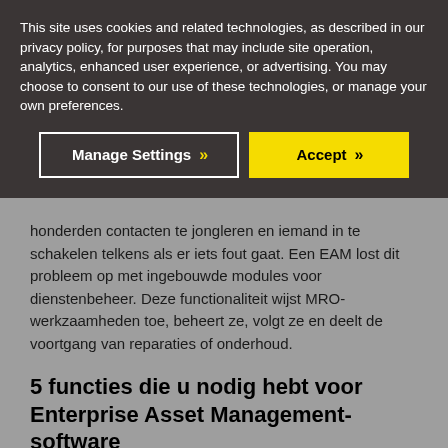This site uses cookies and related technologies, as described in our privacy policy, for purposes that may include site operation, analytics, enhanced user experience, or advertising. You may choose to consent to our use of these technologies, or manage your own preferences.
[Figure (infographic): Cookie consent banner with two buttons: 'Manage Settings' (dark with white border and yellow chevrons) and 'Accept' (yellow with black chevrons)]
honderden contacten te jongleren en iemand in te schakelen telkens als er iets fout gaat. Een EAM lost dit probleem op met ingebouwde modules voor dienstenbeheer. Deze functionaliteit wijst MRO-werkzaamheden toe, beheert ze, volgt ze en deelt de voortgang van reparaties of onderhoud.
5 functies die u nodig hebt voor Enterprise Asset Management-software
Niet alle EAM-software is gelijk. U hebt een EAM nodig dat is